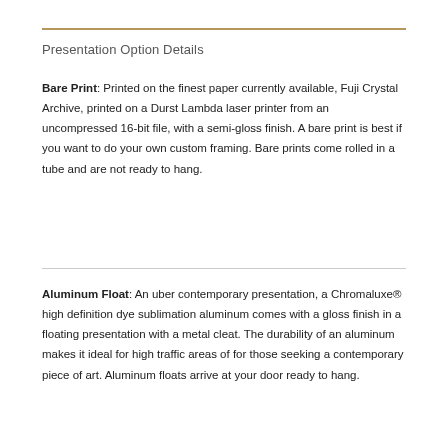Presentation Option Details
Bare Print: Printed on the finest paper currently available, Fuji Crystal Archive, printed on a Durst Lambda laser printer from an uncompressed 16-bit file, with a semi-gloss finish. A bare print is best if you want to do your own custom framing. Bare prints come rolled in a tube and are not ready to hang.
Aluminum Float: An uber contemporary presentation, a Chromaluxe® high definition dye sublimation aluminum comes with a gloss finish in a floating presentation with a metal cleat. The durability of an aluminum makes it ideal for high traffic areas of for those seeking a contemporary piece of art. Aluminum floats arrive at your door ready to hang.